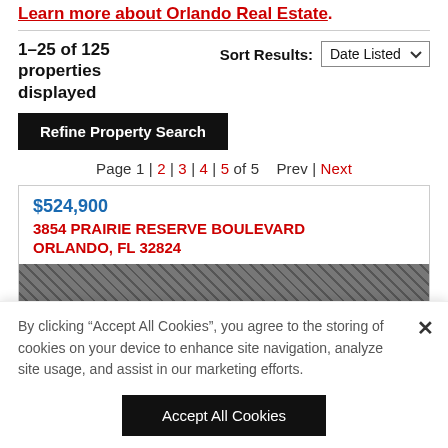Learn more about Orlando Real Estate.
1–25 of 125 properties displayed
Sort Results: Date Listed
Refine Property Search
Page 1 | 2 | 3 | 4 | 5 of 5   Prev | Next
$524,900
3854 PRAIRIE RESERVE BOULEVARD ORLANDO, FL 32824
[Figure (photo): Street-view or property photo shown as dark textured image, partially obscured]
By clicking “Accept All Cookies”, you agree to the storing of cookies on your device to enhance site navigation, analyze site usage, and assist in our marketing efforts.
Accept All Cookies